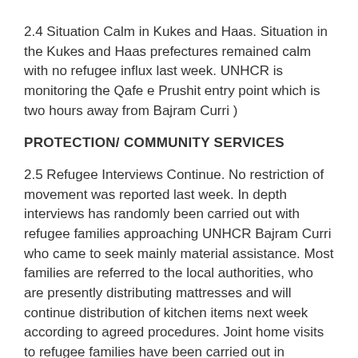2.4 Situation Calm in Kukes and Haas. Situation in the Kukes and Haas prefectures remained calm with no refugee influx last week. UNHCR is monitoring the Qafe e Prushit entry point which is two hours away from Bajram Curri )
PROTECTION/ COMMUNITY SERVICES
2.5 Refugee Interviews Continue. No restriction of movement was reported last week. In depth interviews has randomly been carried out with refugee families approaching UNHCR Bajram Curri who came to seek mainly material assistance. Most families are referred to the local authorities, who are presently distributing mattresses and will continue distribution of kitchen items next week according to agreed procedures. Joint home visits to refugee families have been carried out in cooperation with Oxfam and AEP.